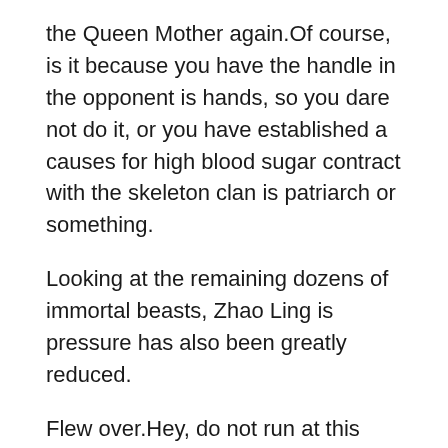the Queen Mother again.Of course, is it because you have the handle in the opponent is hands, so you dare not do it, or you have established a causes for high blood sugar contract with the skeleton clan is patriarch or something.
Looking at the remaining dozens of immortal beasts, Zhao Ling is pressure has also been greatly reduced.
Flew over.Hey, do not run at this time and wait.Although the patriarch of the giant stone clan was seriously injured, he also took out the key to leave the causes for high blood sugar gate of Xingchen Mountain, ready to flee immediately after getting this treasure.
Chahar carefully observed for a while, and the thunderstorm was completely dead, and his anger broke out instantly.
They will leave here and go to the realm of the gods, and even